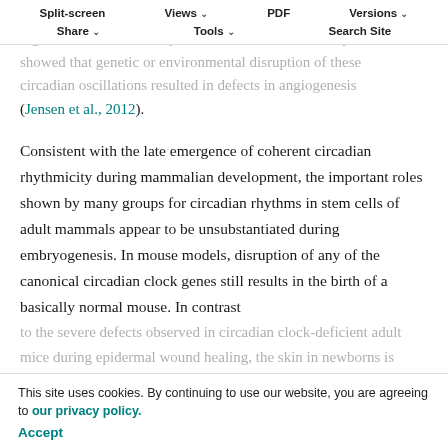Split-screen  Views  PDF  Versions  Share  Tools  Search Site
The evolutionary or developmental benefit of this regulation remains mostly unknown, but a recent study showed that genetic or environmental disruption of these circadian oscillations resulted in defects in angiogenesis (Jensen et al., 2012).
Consistent with the late emergence of coherent circadian rhythmicity during mammalian development, the important roles shown by many groups for circadian rhythms in stem cells of adult mammals appear to be unsubstantiated during embryogenesis. In mouse models, disruption of any of the canonical circadian clock genes still results in the birth of a basically normal mouse. In contrast
to the severe defects observed in circadian clock-deficient adult mice during epidermal wound healing, the skin in newborns is normal in morphology (Kowalska et al., 2015). Furthermore, despite the alterations in hair follicle
This site uses cookies. By continuing to use our website, you are agreeing to our privacy policy. Accept